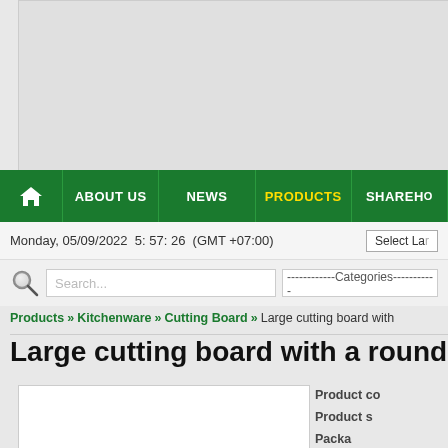[Figure (screenshot): Top banner/advertisement area with grey background]
ABOUT US | NEWS | PRODUCTS | SHAREHOLDER
Monday, 05/09/2022  5: 57: 26  (GMT +07:00)
Search...  -----------Categories-----------
Products » Kitchenware » Cutting Board » Large cutting board with
Large cutting board with a round
[Figure (photo): Product image area (white box, partially visible)]
Product co
Product s
Packa
Quantity/
Carton S